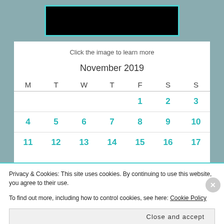[Figure (photo): Black image with teal border at top of page]
Click the image to learn more
November 2019
| M | T | W | T | F | S | S |
| --- | --- | --- | --- | --- | --- | --- |
|  |  |  |  | 1 | 2 | 3 |
| 4 | 5 | 6 | 7 | 8 | 9 | 10 |
| 11 | 12 | 13 | 14 | 15 | 16 | 17 |
Privacy & Cookies: This site uses cookies. By continuing to use this website, you agree to their use.
To find out more, including how to control cookies, see here: Cookie Policy
Close and accept